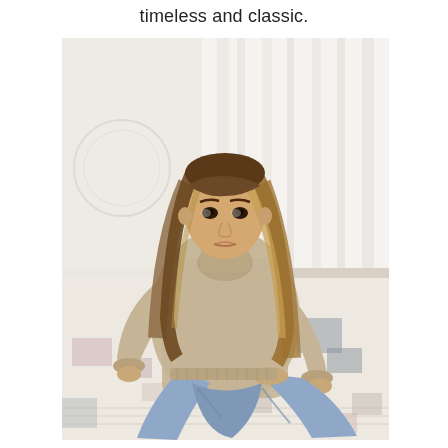timeless and classic.
[Figure (photo): A young woman with long blonde ombre hair sits cross-legged on a patterned rug. She is wearing a beige/cream textured turtleneck knit sweater and light blue jeans. She is barefoot on one side. The background shows white sheer curtains and a bright room. She is looking directly at the camera with a neutral expression.]